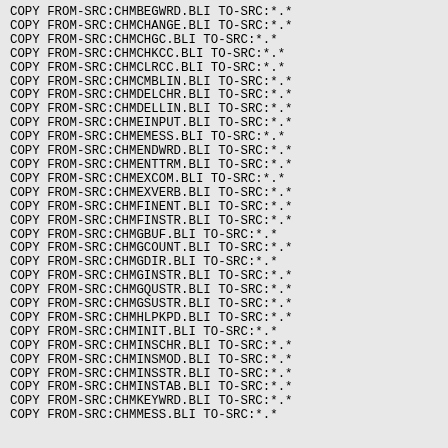COPY FROM-SRC:CHMBEGWRD.BLI TO-SRC:*.*
COPY FROM-SRC:CHMCHANGE.BLI TO-SRC:*.*
COPY FROM-SRC:CHMCHGC.BLI TO-SRC:*.*
COPY FROM-SRC:CHMCHKCC.BLI TO-SRC:*.*
COPY FROM-SRC:CHMCLRCC.BLI TO-SRC:*.*
COPY FROM-SRC:CHMCMBLIN.BLI TO-SRC:*.*
COPY FROM-SRC:CHMDELCHR.BLI TO-SRC:*.*
COPY FROM-SRC:CHMDELLIN.BLI TO-SRC:*.*
COPY FROM-SRC:CHMEINPUT.BLI TO-SRC:*.*
COPY FROM-SRC:CHMEMESS.BLI TO-SRC:*.*
COPY FROM-SRC:CHMENDWRD.BLI TO-SRC:*.*
COPY FROM-SRC:CHMENTTRM.BLI TO-SRC:*.*
COPY FROM-SRC:CHMEXCOM.BLI TO-SRC:*.*
COPY FROM-SRC:CHMEXVERB.BLI TO-SRC:*.*
COPY FROM-SRC:CHMFINENT.BLI TO-SRC:*.*
COPY FROM-SRC:CHMFINSTR.BLI TO-SRC:*.*
COPY FROM-SRC:CHMGBUF.BLI TO-SRC:*.*
COPY FROM-SRC:CHMGCOUNT.BLI TO-SRC:*.*
COPY FROM-SRC:CHMGDIR.BLI TO-SRC:*.*
COPY FROM-SRC:CHMGINSTR.BLI TO-SRC:*.*
COPY FROM-SRC:CHMGQUSTR.BLI TO-SRC:*.*
COPY FROM-SRC:CHMGSUSTR.BLI TO-SRC:*.*
COPY FROM-SRC:CHMHLPKPD.BLI TO-SRC:*.*
COPY FROM-SRC:CHMINIT.BLI TO-SRC:*.*
COPY FROM-SRC:CHMINSCHR.BLI TO-SRC:*.*
COPY FROM-SRC:CHMINSMOD.BLI TO-SRC:*.*
COPY FROM-SRC:CHMINSSTR.BLI TO-SRC:*.*
COPY FROM-SRC:CHMINSTAB.BLI TO-SRC:*.*
COPY FROM-SRC:CHMKEYWRD.BLI TO-SRC:*.*
COPY FROM-SRC:CHMMESS.BLI TO-SRC:*.*